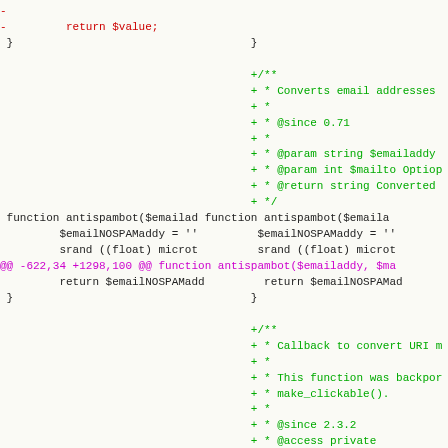[Figure (screenshot): A code diff view showing PHP source code changes. Left column shows removed lines (red), right column shows added lines (green). A diff hunk header in magenta. Background is light cream/yellow. Monospace font. Shows changes to antispambot() function and new JSDoc comment blocks.]